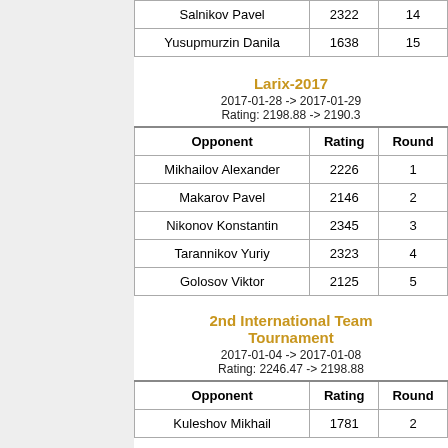| Opponent | Rating | Round |
| --- | --- | --- |
| Salnikov Pavel | 2322 | 14 |
| Yusupmurzin Danila | 1638 | 15 |
Larix-2017
2017-01-28 -> 2017-01-29
Rating: 2198.88 -> 2190.3
| Opponent | Rating | Round |
| --- | --- | --- |
| Mikhailov Alexander | 2226 | 1 |
| Makarov Pavel | 2146 | 2 |
| Nikonov Konstantin | 2345 | 3 |
| Tarannikov Yuriy | 2323 | 4 |
| Golosov Viktor | 2125 | 5 |
2nd International Team Tournament
2017-01-04 -> 2017-01-08
Rating: 2246.47 -> 2198.88
| Opponent | Rating | Round |
| --- | --- | --- |
| Kuleshov Mikhail | 1781 | 2 |